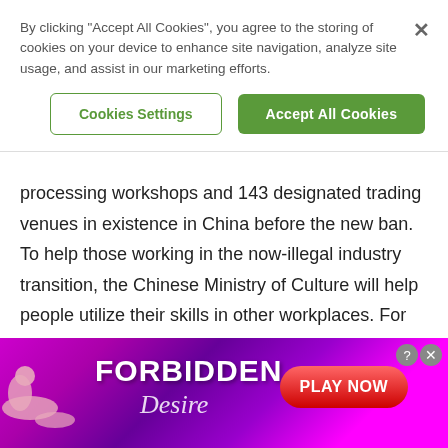By clicking "Accept All Cookies", you agree to the storing of cookies on your device to enhance site navigation, analyze site usage, and assist in our marketing efforts.
Cookies Settings | Accept All Cookies
processing workshops and 143 designated trading venues in existence in China before the new ban. To help those working in the now-illegal industry transition, the Chinese Ministry of Culture will help people utilize their skills in other workplaces. For example, master carvers will be given the opportunity to work with museums to teach others about the
[Figure (other): Advertisement banner for 'Forbidden Desire' with pink/purple gradient background, silhouette of woman, and 'PLAY NOW' button in red]